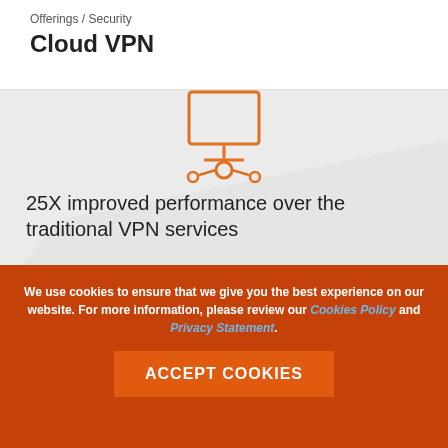Offerings / Security
Cloud VPN
[Figure (illustration): Orange icon of a computer monitor with a network/connection symbol below it]
25X improved performance over the traditional VPN services
[Figure (illustration): Orange icon of two clouds connected with arrows and a clock symbol, representing cloud networking]
Tunnel establishment latency less compared to traditional VPN services
We use cookies to ensure that we give you the best experience on our website. For more information, please review our Cookies Policy and Privacy Statement.
ACCEPT COOKIES